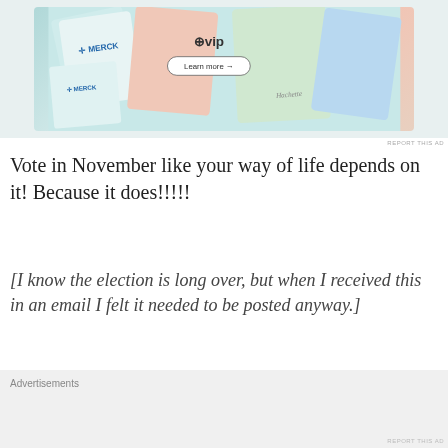[Figure (photo): Advertisement banner showing Merck and other brand logos/cards with WordPress VIP branding and Learn more button]
Vote in November like your way of life depends on it! Because it does!!!!!
[I know the election is long over, but when I received this in an email I felt it needed to be posted anyway.]
Advertisements
[Figure (screenshot): Longreads advertisement with red circle L logo on black background]
Advertisements